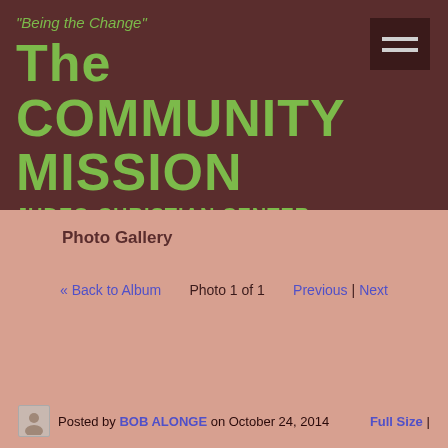"Being the Change"
The COMMUNITY MISSION
JUDEO-CHRISTIAN CENTER
Photo Gallery
« Back to Album   Photo 1 of 1   Previous | Next
Posted by BOB ALONGE on October 24, 2014   Full Size |